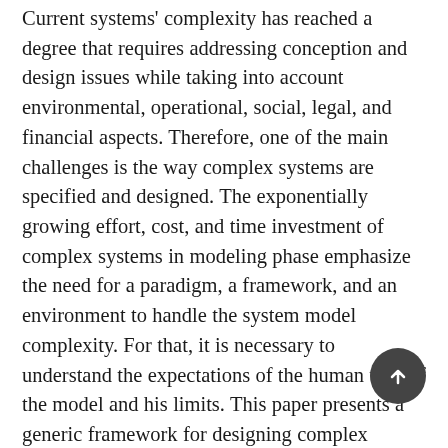Current systems' complexity has reached a degree that requires addressing conception and design issues while taking into account environmental, operational, social, legal, and financial aspects. Therefore, one of the main challenges is the way complex systems are specified and designed. The exponentially growing effort, cost, and time investment of complex systems in modeling phase emphasize the need for a paradigm, a framework, and an environment to handle the system model complexity. For that, it is necessary to understand the expectations of the human user of the model and his limits. This paper presents a generic framework for designing complex systems, highlights the requirements a system model needs to fulfill to meet human user expectations, and suggests a graph-based formalism for modeling complex systems. Finally, a set of transformations are defined to handle the model complexity.